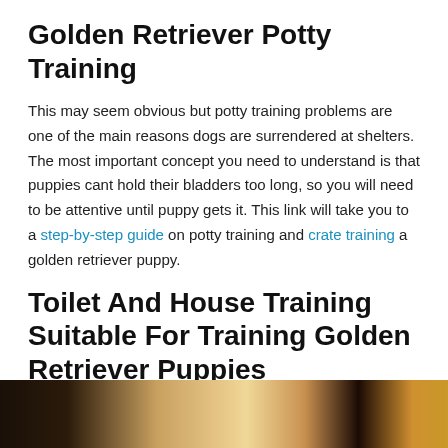Golden Retriever Potty Training
This may seem obvious but potty training problems are one of the main reasons dogs are surrendered at shelters. The most important concept you need to understand is that puppies cant hold their bladders too long, so you will need to be attentive until puppy gets it. This link will take you to a step-by-step guide on potty training and crate training a golden retriever puppy.
Toilet And House Training Suitable For Training Golden Retriever Puppies
[Figure (photo): Photo of a golden retriever puppy, dark background with warm golden tones]